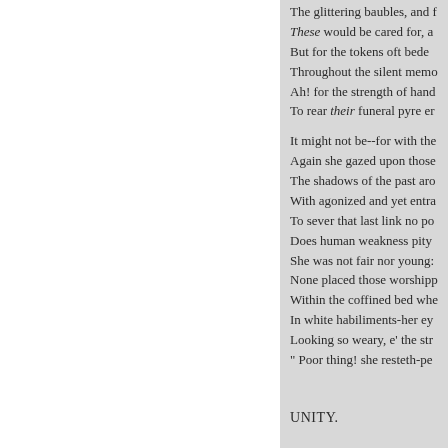The glittering baubles, and f
These would be cared for, a
But for the tokens oft bede
Throughout the silent memo
Ah! for the strength of hand
To rear their funeral pyre er

It might not be--for with the
Again she gazed upon those
The shadows of the past aro
With agonized and yet entra
To sever that last link no po
Does human weakness pity
She was not fair nor young:
None placed those worshipp
Within the coffined bed whe
In white habiliments-her ey
Looking so weary, e' the str
" Poor thing! she resteth-pe
UNITY.